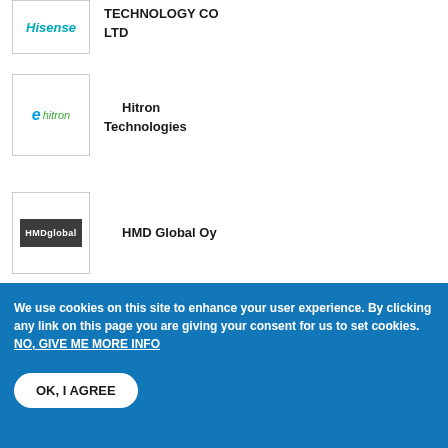[Figure (logo): Hisense logo (partial, teal/cyan italic text)]
TECHNOLOGY CO LTD
[Figure (logo): Hitron Technologies logo with stylized 'e hitron' text in green and blue]
Hitron Technologies
[Figure (logo): HMD Global logo - dark grey rectangle with white HMDglobal text]
HMD Global Oy
[Figure (logo): The Home Depot orange logo with white text]
Home Depot Product Authority, LLC
We use cookies on this site to enhance your user experience. By clicking any link on this page you are giving your consent for us to set cookies. NO, GIVE ME MORE INFO
OK, I AGREE